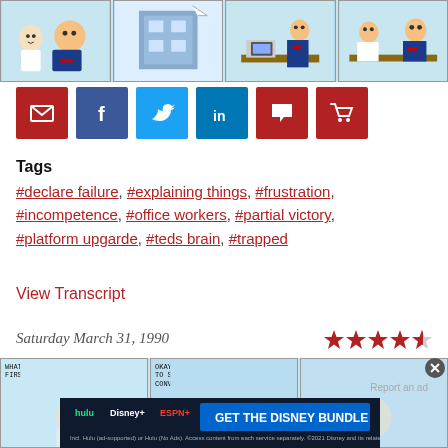[Figure (illustration): Four-panel Dilbert comic strip at top of page showing office characters]
[Figure (infographic): Row of six social sharing buttons: email (red), Facebook (dark blue), Twitter (light blue), LinkedIn (blue), comment (red), cart (red)]
Tags
#declare failure, #explaining things, #frustration, #incompetence, #office workers, #partial victory, #platform upgarde, #teds brain, #trapped
View Transcript
Saturday March 31, 1990
[Figure (illustration): 4.5 out of 5 stars rating]
[Figure (illustration): Second Dilbert comic strip row with panels including text 'WHAT I LOOK FOR FIRST IN A MAN' and 'OKAY... I'D LIKE TO SKIP THIS BORING CONVERSATION AND']
[Figure (advertisement): Disney Bundle advertisement with Hulu, Disney+, ESPN+ logos and text 'GET THE DISNEY BUNDLE', Incl. Hulu (ad-supported) or Hulu (No Ads). Access content from each service separately. ©2021 Disney and its related entities.]